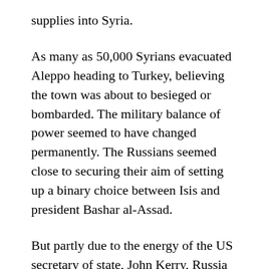supplies into Syria.
As many as 50,000 Syrians evacuated Aleppo heading to Turkey, believing the town was about to besieged or bombarded. The military balance of power seemed to have changed permanently. The Russians seemed close to securing their aim of setting up a binary choice between Isis and president Bashar al-Assad.
But partly due to the energy of the US secretary of state, John Kerry, Russia decided to take the lead in a further effort at starting peace talks, only two weeks after a previous initiative foundered largely due to the scale of Russian bombing of opposition forces.
This time Kerry, to the fury of many in the US, has acknowledged the de facto leadership role of Russia inside Syria by allowing Vladimir Putin to co-host the